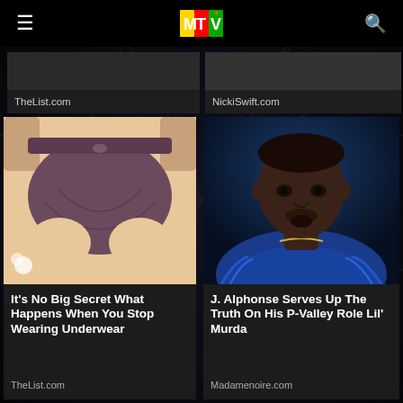MTV
TheList.com
NickiSwift.com
[Figure (photo): Purple/mauve women's underwear/briefs being held up against a peach/cream background with a small white flower in the corner]
It's No Big Secret What Happens When You Stop Wearing Underwear
TheList.com
[Figure (photo): J. Alphonse Nicholson, a Black man with short hair and a goatee, wearing a blue fur coat, looking directly at camera against a dark blue backdrop]
J. Alphonse Serves Up The Truth On His P-Valley Role Lil' Murda
Madamenoire.com